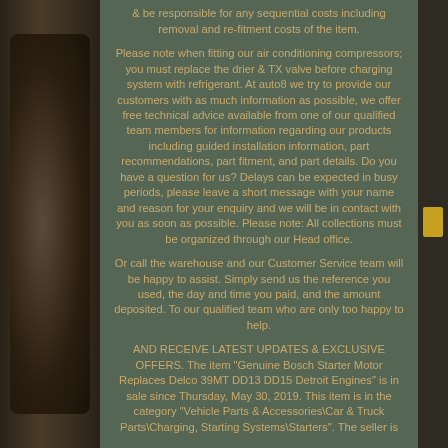& be responsible for any sequential costs including removal and re-fitment costs of the item.
Please note when fitting our air conditioning compressors; you must replace the drier & TX valve before charging system with refrigerant. At auto8 we try to provide our customers with as much information as possible, we offer free technical advice available from one of our qualified team members for information regarding our products including guided installation information, part recommendations, part fitment, and part details. Do you have a question for us? Delays can be expected in busy periods, please leave a short message with your name and reason for your enquiry and we will be in contact with you as soon as possible. Please note: All collections must be organized through our Head office.
Or call the warehouse and our Customer Service team will be happy to assist. Simply send us the reference you used, the day and time you paid, and the amount deposited. To our qualified team who are only too happy to help.
AND RECEIVE LATEST UPDATES & EXCLUSIVE OFFERS. The item "Genuine Bosch Starter Motor Replaces Delco 39MT DD13 DD15 Detroit Engines" is in sale since Thursday, May 30, 2019. This item is in the category "Vehicle Parts & Accessories\Car & Truck Parts\Charging, Starting Systems\Starters". The seller is